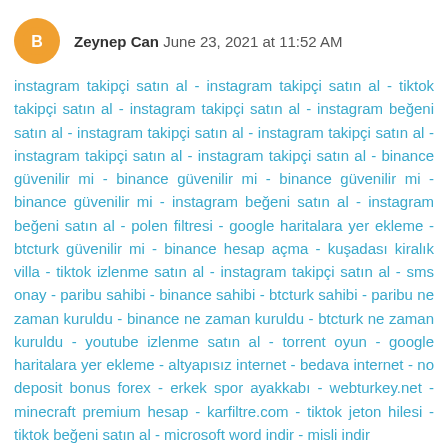Zeynep Can June 23, 2021 at 11:52 AM
instagram takipçi satın al - instagram takipçi satın al - tiktok takipçi satın al - instagram takipçi satın al - instagram beğeni satın al - instagram takipçi satın al - instagram takipçi satın al - instagram takipçi satın al - instagram takipçi satın al - binance güvenilir mi - binance güvenilir mi - binance güvenilir mi - binance güvenilir mi - instagram beğeni satın al - instagram beğeni satın al - polen filtresi - google haritalara yer ekleme - btcturk güvenilir mi - binance hesap açma - kuşadası kiralık villa - tiktok izlenme satın al - instagram takipçi satın al - sms onay - paribu sahibi - binance sahibi - btcturk sahibi - paribu ne zaman kuruldu - binance ne zaman kuruldu - btcturk ne zaman kuruldu - youtube izlenme satın al - torrent oyun - google haritalara yer ekleme - altyapısız internet - bedava internet - no deposit bonus forex - erkek spor ayakkabı - webturkey.net - minecraft premium hesap - karfiltre.com - tiktok jeton hilesi - tiktok beğeni satın al - microsoft word indir - misli indir
Reply